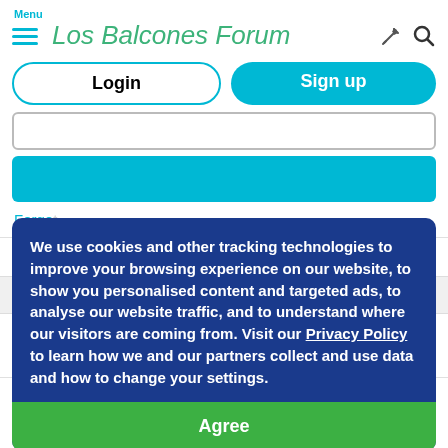Menu  Los Balcones Forum
Login | Sign up
Forgot
We use cookies and other tracking technologies to improve your browsing experience on our website, to show you personalised content and targeted ads, to analyse our website traffic, and to understand where our visitors are coming from. Visit our Privacy Policy to learn how we and our partners collect and use data and how to change your settings.
Agree
Most recent  Most replies  Helpful
How can I get possessions sent from Ireland
Moving to Los Balcones: tips and advice